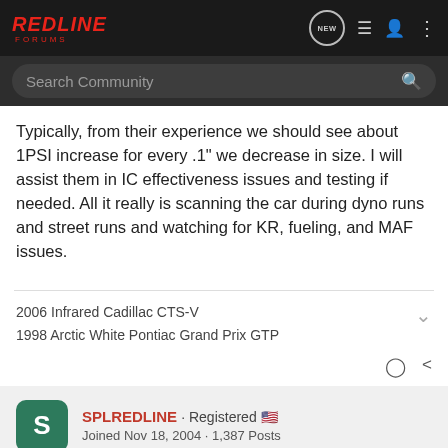RedLine Forums
Typically, from their experience we should see about 1PSI increase for every .1" we decrease in size. I will assist them in IC effectiveness issues and testing if needed. All it really is scanning the car during dyno runs and street runs and watching for KR, fueling, and MAF issues.
2006 Infrared Cadillac CTS-V
1998 Arctic White Pontiac Grand Prix GTP
SPLREDLINE · Registered 🇺🇸
Joined Nov 18, 2004 · 1,387 Posts